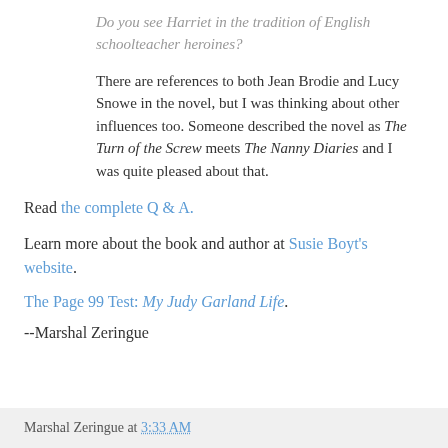Do you see Harriet in the tradition of English schoolteacher heroines?
There are references to both Jean Brodie and Lucy Snowe in the novel, but I was thinking about other influences too. Someone described the novel as The Turn of the Screw meets The Nanny Diaries and I was quite pleased about that.
Read the complete Q & A.
Learn more about the book and author at Susie Boyt's website.
The Page 99 Test: My Judy Garland Life.
--Marshal Zeringue
Marshal Zeringue at 3:33 AM